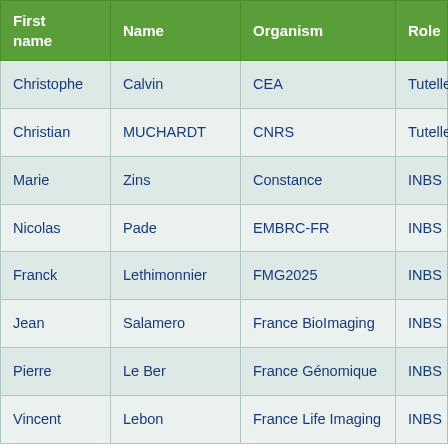| First name | Name | Organism | Role |
| --- | --- | --- | --- |
| Christophe | Calvin | CEA | Tutelle |
| Christian | MUCHARDT | CNRS | Tutelle |
| Marie | Zins | Constance | INBS |
| Nicolas | Pade | EMBRC-FR | INBS |
| Franck | Lethimonnier | FMG2025 | INBS |
| Jean | Salamero | France BioImaging | INBS |
| Pierre | Le Ber | France Génomique | INBS |
| Vincent | Lebon | France Life Imaging | INBS |